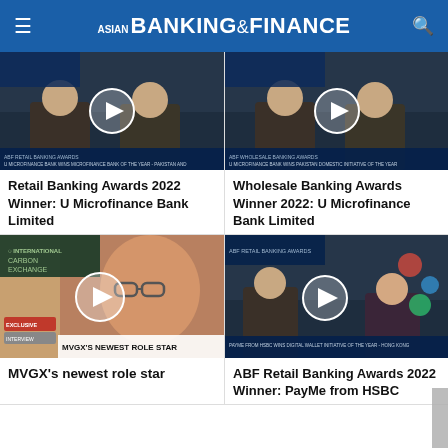ASIAN BANKING & FINANCE
[Figure (screenshot): Video thumbnail: ABF Retail Banking Awards, U Microfinance Bank wins Microfinance Bank of the Year - Pakistan and Islamic Banking Initiative of the Year - Pakistan]
Retail Banking Awards 2022 Winner: U Microfinance Bank Limited
[Figure (screenshot): Video thumbnail: ABF Wholesale Banking Awards, U Microfinance Bank wins Pakistan Domestic Initiative of the Year]
Wholesale Banking Awards Winner 2022: U Microfinance Bank Limited
[Figure (screenshot): Video thumbnail: MVGX's Newest Role Star - Exclusive interview]
MVGX's newest role star
[Figure (screenshot): Video thumbnail: ABF Retail Banking Awards, PayMe from HSBC wins Digital Wallet Initiative of the Year - Hong Kong]
ABF Retail Banking Awards 2022 Winner: PayMe from HSBC